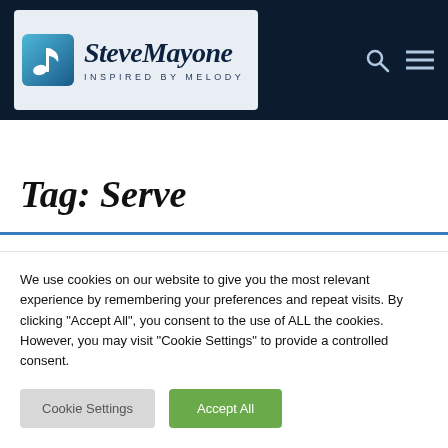SteveMayone — INSPIRED BY MELODY
Tag: Serve
We use cookies on our website to give you the most relevant experience by remembering your preferences and repeat visits. By clicking "Accept All", you consent to the use of ALL the cookies. However, you may visit "Cookie Settings" to provide a controlled consent.